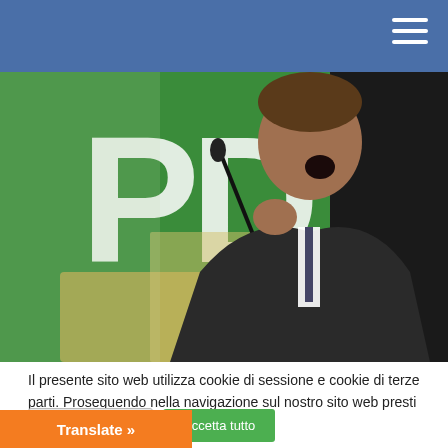[Figure (photo): A man in a dark suit speaking at a podium with a microphone, gesturing with his hand in front of a green background with white 'PD' letters visible.]
Il presente sito web utilizza cookie di sessione e cookie di terze parti. Proseguendo nella navigazione sul nostro sito web presti il consenso all'uso dei cookie.
Cookie Settings
Accetta tutto
Translate »